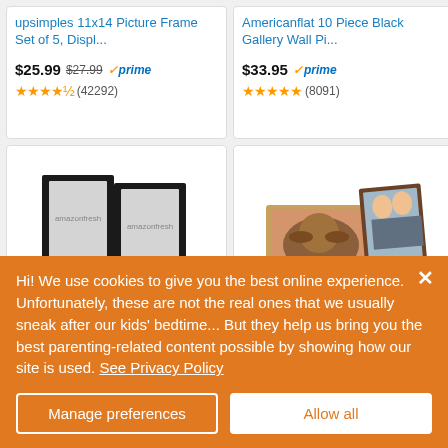upsimples 11x14 Picture Frame Set of 5, Displ...
$25.99  $27.99  ✓prime  ★★★★½ (42292)
Americanflat 10 Piece Black Gallery Wall Pi...
$33.95  ✓prime  ★★★★★ (8091)
[Figure (photo): Two black picture frames standing upright side by side]
Amazon Basics Photo
[Figure (photo): Wooden digital photo frame showing a dog and a couple photo]
Mixoo Picture Frame 2
Hi! We use cookies to give you the best online experience. Unfortunately, these are not the real ones that we usually sneak after our kids' bedtime... But they help us bring you the best parenting-related content possible by showing how our site is used. See Privacy Policy
Manage preferences
Allow all